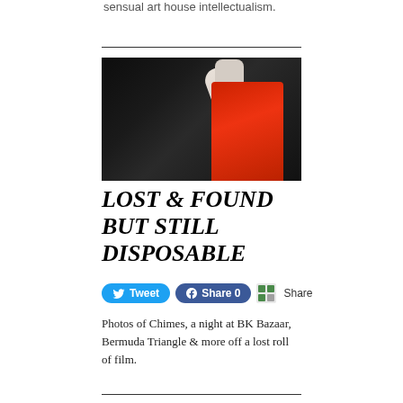sensual art house intellectualism.
[Figure (photo): A person wearing a red top with their arm raised and fist in the air, photographed from behind in a dark concert or club setting. Appears to be shot on film with dark, grainy aesthetic.]
LOST & FOUND BUT STILL DISPOSABLE
Tweet | Share 0 | Share
Photos of Chimes, a night at BK Bazaar, Bermuda Triangle & more off a lost roll of film.